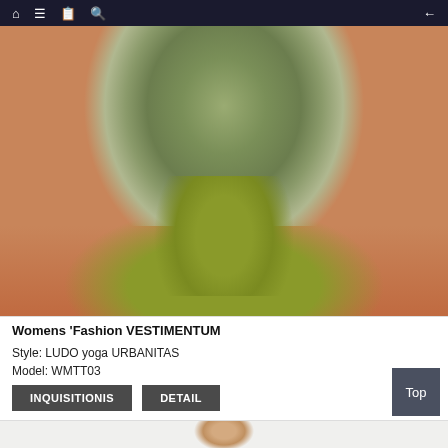Navigation bar with home, menu, book, search icons and back arrow
[Figure (photo): Woman wearing olive/grey tie-dye sleeveless top and olive green biker shorts, product photo cropped at mid-torso showing arms at sides]
Womens 'Fashion VESTIMENTUM
Style: LUDO yoga URBANITAS
Model: WMTT03
INQUISITIONIS   DETAIL
[Figure (photo): Partial view of second product photo showing woman's head/shoulders at bottom of page]